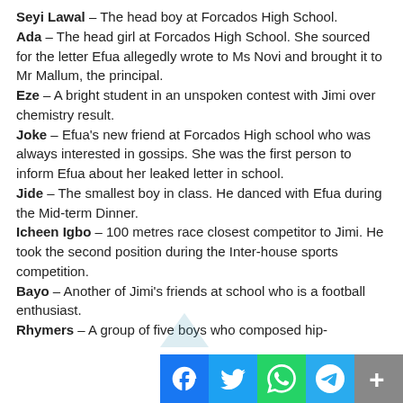Seyi Lawal – The head boy at Forcados High School.
Ada – The head girl at Forcados High School. She sourced for the letter Efua allegedly wrote to Ms Novi and brought it to Mr Mallum, the principal.
Eze – A bright student in an unspoken contest with Jimi over chemistry result.
Joke – Efua's new friend at Forcados High school who was always interested in gossips. She was the first person to inform Efua about her leaked letter in school.
Jide – The smallest boy in class. He danced with Efua during the Mid-term Dinner.
Icheen Igbo – 100 metres race closest competitor to Jimi. He took the second position during the Inter-house sports competition.
Bayo – Another of Jimi's friends at school who is a football enthusiast.
Rhymers – A group of five boys who composed hip-